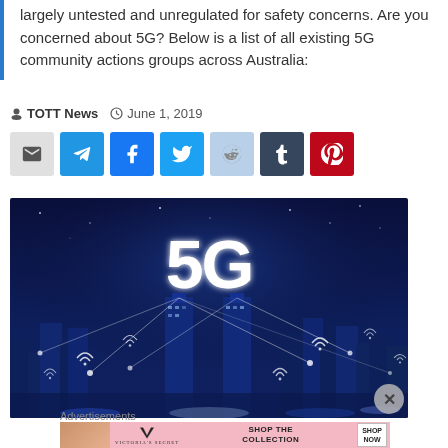largely untested and unregulated for safety concerns. Are you concerned about 5G? Below is a list of all existing 5G community actions groups across Australia:
TOTT News  June 1, 2019
[Figure (screenshot): Social media share buttons: email, Telegram, Facebook, Twitter, Reddit, Tumblr, Pinterest]
[Figure (photo): 5G cityscape illustration showing glowing '5G' text above a city skyline at night with WiFi signal icons and network connection lines]
Advertisements
[Figure (other): Victoria's Secret advertisement: Shop the Collection - Shop Now]